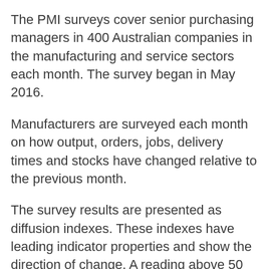The PMI surveys cover senior purchasing managers in 400 Australian companies in the manufacturing and service sectors each month. The survey began in May 2016.
Manufacturers are surveyed each month on how output, orders, jobs, delivery times and stocks have changed relative to the previous month.
The survey results are presented as diffusion indexes. These indexes have leading indicator properties and show the direction of change. A reading above 50 indicates expansion. The further above (below) 50, the stronger the expansion (contraction).
The PMI...